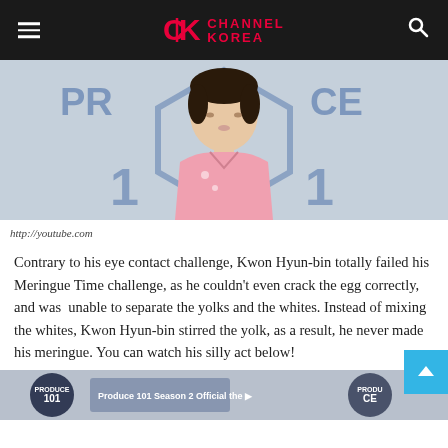Channel Korea
[Figure (photo): Young East Asian man in pink shirt, sitting in front of a blue and white Produce 101 backdrop]
http://youtube.com
Contrary to his eye contact challenge, Kwon Hyun-bin totally failed his Meringue Time challenge, as he couldn't even crack the egg correctly, and was unable to separate the yolks and the whites. Instead of mixing the whites, Kwon Hyun-bin stirred the yolk, as a result, he never made his meringue. You can watch his silly act below!
[Figure (screenshot): Bottom portion of a Produce 101 thumbnail/video screenshot showing logos and text]